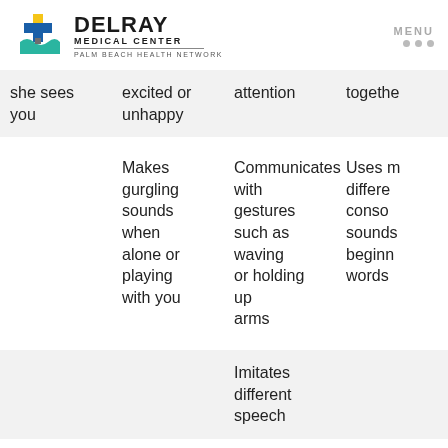[Figure (logo): Delray Medical Center - Palm Beach Health Network logo with cross and wave symbol]
| Col1 | Col2 | Col3 | Col4 |
| --- | --- | --- | --- |
| she sees you | excited or unhappy | attention | together |
|  | Makes gurgling sounds when alone or playing with you | Communicates with gestures such as waving or holding up arms | Uses m differe conso sounds beginn words |
|  |  | Imitates different speech |  |